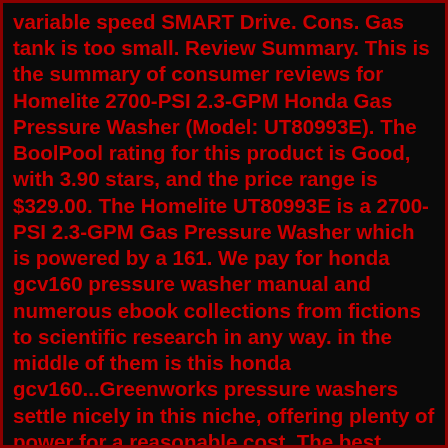variable speed SMART Drive. Cons. Gas tank is too small. Review Summary. This is the summary of consumer reviews for Homelite 2700-PSI 2.3-GPM Honda Gas Pressure Washer (Model: UT80993E). The BoolPool rating for this product is Good, with 3.90 stars, and the price range is $329.00. The Homelite UT80993E is a 2700-PSI 2.3-GPM Gas Pressure Washer which is powered by a 161. We pay for honda gcv160 pressure washer manual and numerous ebook collections from fictions to scientific research in any way. in the middle of them is this honda gcv160...Greenworks pressure washers settle nicely in this niche, offering plenty of power for a reasonable cost. The best Greenworks pressure washer is the Greenworks Pro. Owner's Manual.. Featuring a powerful 161 cc Honda engine, this gas pressure washer delivers 2800-PSI of cleaning force for quick cleaning of driveways, decks, siding, windows and more The engine is equipped with Idle Down Technology which decreases fuel consumption and reduces noise by 40%. Most importantly, Idle Down Technology increases the overall life of. The